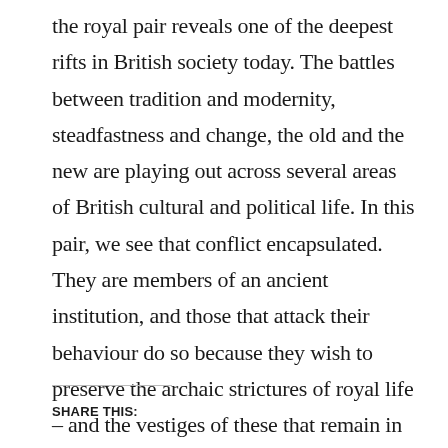the royal pair reveals one of the deepest rifts in British society today. The battles between tradition and modernity, steadfastness and change, the old and the new are playing out across several areas of British cultural and political life. In this pair, we see that conflict encapsulated. They are members of an ancient institution, and those that attack their behaviour do so because they wish to preserve the archaic strictures of royal life – and the vestiges of these that remain in society as a whole.
SHARE THIS: